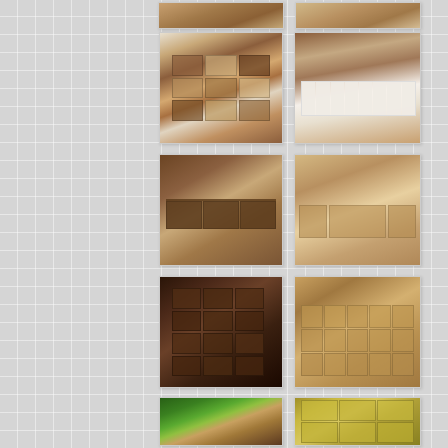[Figure (photo): Partial top strip showing two furniture photos — left: a wooden furniture piece, right: another furniture piece]
[Figure (photo): Apothecary-style cabinet with multiple mismatched wooden drawers of various sizes and colors, mounted on metal legs]
[Figure (photo): Low white-painted coffee table with many small drawers, on a warm reddish hardwood floor]
[Figure (photo): Dark wood coffee table with six drawers on front face, photographed in a living room]
[Figure (photo): Light natural pine coffee table with multiple drawers and a central cabinet door]
[Figure (photo): Dark square apothecary-style chest with 12 small drawers with ring pulls, on black and white checkered floor]
[Figure (photo): Natural pine apothecary dresser with many small drawers and ring pulls, with potted plants on top]
[Figure (photo): Outdoor wooden bench with green grass background, showing a plank-style seat above a small drawer]
[Figure (photo): Painted yellow/green apothecary cabinet with many small drawers and ring pulls]